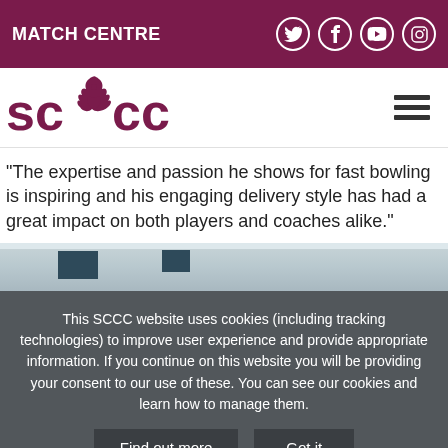MATCH CENTRE
[Figure (logo): SCCC cricket club logo with lion/dragon crest between SC and CC text in maroon]
"The expertise and passion he shows for fast bowling is inspiring and his engaging delivery style has had a great impact on both players and coaches alike."
[Figure (photo): Indoor cricket facility with ceiling and signs visible]
This SCCC website uses cookies (including tracking technologies) to improve user experience and provide appropriate information. If you continue on this website you will be providing your consent to our use of these. You can see our cookies and learn how to manage them.